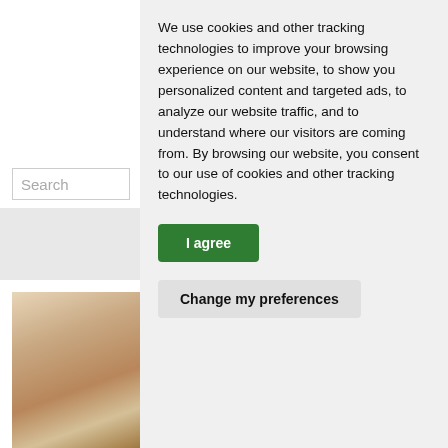[Figure (screenshot): Search box input field on left panel]
[Figure (photo): Photo of a room interior with a mattress on the floor, wooden flooring, and a window in the background]
We use cookies and other tracking technologies to improve your browsing experience on our website, to show you personalized content and targeted ads, to analyze our website traffic, and to understand where our visitors are coming from. By browsing our website, you consent to our use of cookies and other tracking technologies.
I agree
Change my preferences